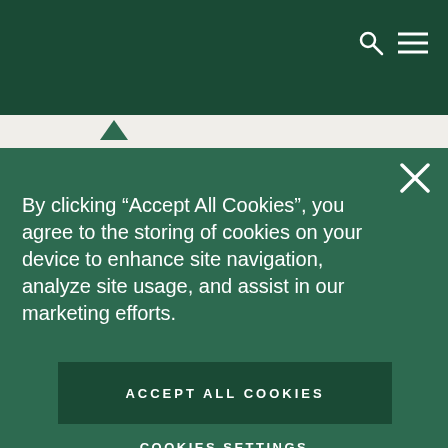By clicking “Accept All Cookies”, you agree to the storing of cookies on your device to enhance site navigation, analyze site usage, and assist in our marketing efforts.
ACCEPT ALL COOKIES
COOKIES SETTINGS